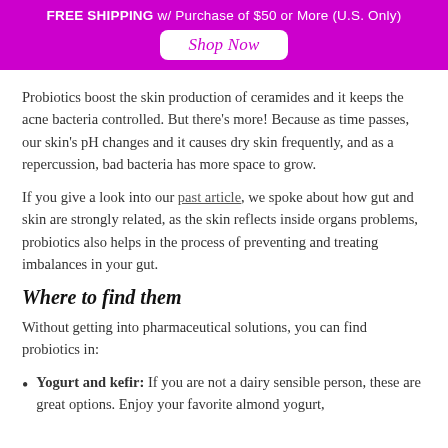FREE SHIPPING w/ Purchase of $50 or More (U.S. Only) Shop Now
Probiotics boost the skin production of ceramides and it keeps the acne bacteria controlled. But there's more! Because as time passes, our skin's pH changes and it causes dry skin frequently, and as a repercussion, bad bacteria has more space to grow.
If you give a look into our past article, we spoke about how gut and skin are strongly related, as the skin reflects inside organs problems, probiotics also helps in the process of preventing and treating imbalances in your gut.
Where to find them
Without getting into pharmaceutical solutions, you can find probiotics in:
Yogurt and kefir: If you are not a dairy sensible person, these are great options. Enjoy your favorite almond yogurt,